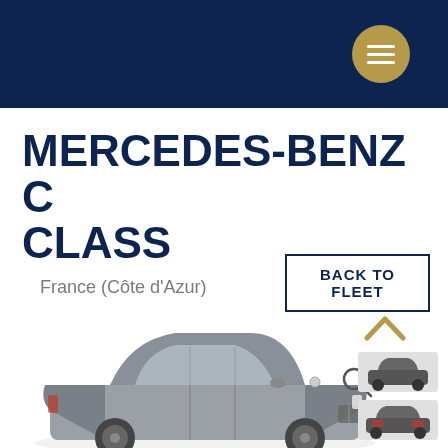[Figure (other): Dark navy header bar with gold circular hamburger menu button on the right]
MERCEDES-BENZ C CLASS
France (Côte d'Azur)
BACK TO FLEET
[Figure (photo): Mercedes-Benz C Class sedan car in grey/dark color, front three-quarter view, large main image]
[Figure (photo): Small thumbnail of Mercedes-Benz C Class front view]
[Figure (photo): Small thumbnail of Mercedes-Benz C Class rear view]